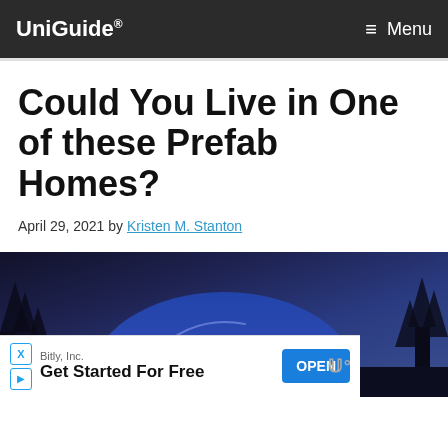UniGuide® Menu
Could You Live in One of these Prefab Homes?
April 29, 2021 by Kristen M. Stanton
[Figure (photo): A futuristic dome-shaped prefab home illuminated at night with blue and purple lighting, surrounded by trees]
Bitly, Inc. Get Started For Free OPEN